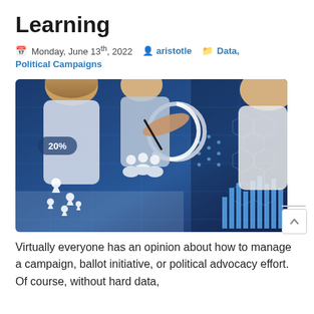Learning
Monday, June 13th, 2022  aristotle  Data, Political Campaigns
[Figure (photo): Photo of people working together around a digital data visualization interface showing charts, maps with location pins, and analytics overlays; three people visible (two women and a man), pointing at a screen with glowing digital graphics including '20%' label, hexagonal patterns, bar charts, and location markers.]
Virtually everyone has an opinion about how to manage a campaign, ballot initiative, or political advocacy effort. Of course, without hard data,